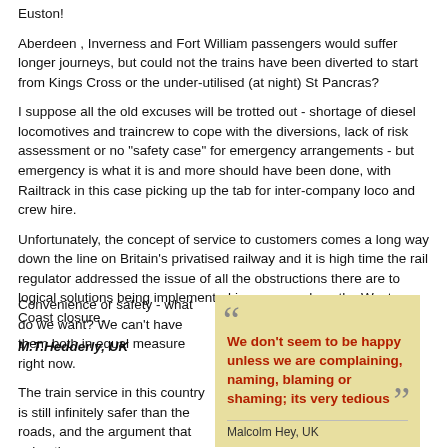Euston!
Aberdeen , Inverness and Fort William passengers would suffer longer journeys, but could not the trains have been diverted to start from Kings Cross or the under-utilised (at night) St Pancras?
I suppose all the old excuses will be trotted out - shortage of diesel locomotives and traincrew to cope with the diversions, lack of risk assessment or no "safety case" for emergency arrangements - but emergency is what it is and more should have been done, with Railtrack in this case picking up the tab for inter-company loco and crew hire.
Unfortunately, the concept of service to customers comes a long way down the line on Britain's privatised railway and it is high time the rail regulator addressed the issue of all the obstructions there are to logical solutions being implemented in cases such as the West Coast closure.
M.T.Hedderly, UK
Convenience or safety - what do we want? We can't have them both in equal measure right now.
The train service in this country is still infinitely safer than the roads, and the argument that using the
We don't seem to be happy unless we are complaining, naming, blaming or shaming; its very tedious
Malcolm Hey, UK